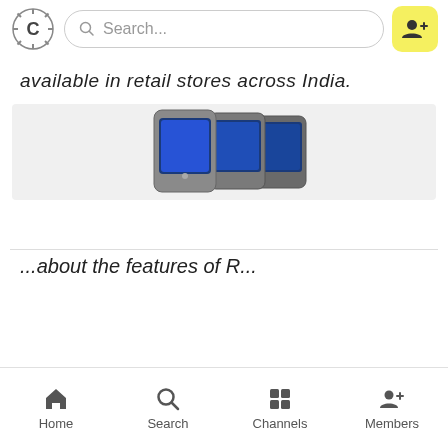Search...
available in retail stores across India.
[Figure (photo): Three mobile phones/devices shown from a top-angle perspective, with metallic silver/dark grey finish and blue-lit screens]
...about the features of R...
Home  Search  Channels  Members